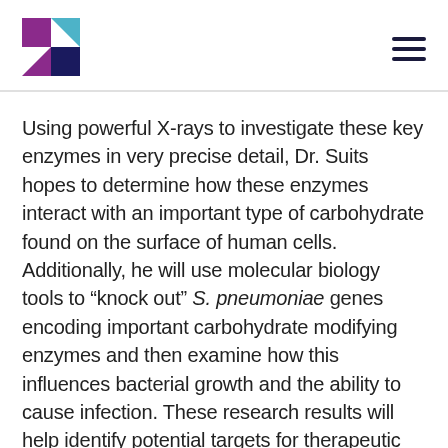[Logo and navigation menu]
Using powerful X-rays to investigate these key enzymes in very precise detail, Dr. Suits hopes to determine how these enzymes interact with an important type of carbohydrate found on the surface of human cells. Additionally, he will use molecular biology tools to “knock out” S. pneumoniae genes encoding important carbohydrate modifying enzymes and then examine how this influences bacterial growth and the ability to cause infection. These research results will help identify potential targets for therapeutic intervention, and provide a platform to develop compounds to inhibit carbohydrate-modifying enzymes.